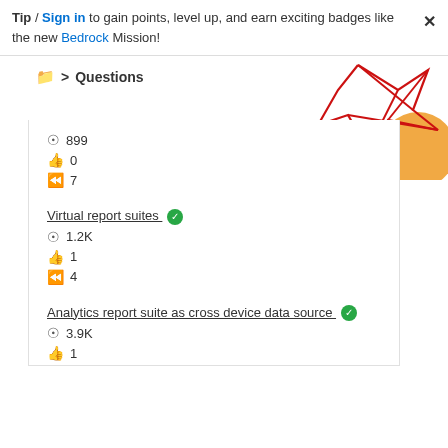Tip / Sign in to gain points, level up, and earn exciting badges like the new Bedrock Mission!
Questions
899 views, 0 likes, 7 replies
Virtual report suites
1.2K views, 1 like, 4 replies
Analytics report suite as cross device data source
3.9K views, 1 like